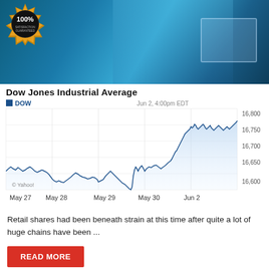[Figure (photo): Hero banner image showing a trader with arms raised, a 100% satisfaction guaranteed badge on the left, and a laptop on the right, with blue-tinted financial theme]
Dow Jones Industrial Average
[Figure (line-chart): Dow Jones Industrial Average]
Retail shares had been beneath strain at this time after quite a lot of huge chains have been ...
READ MORE